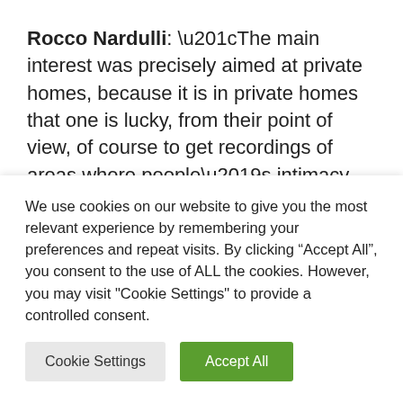Rocco Nardulli: “The main interest was precisely aimed at private homes, because it is in private homes that one is lucky, from their point of view, of course to get recordings of areas where people’s intimacy takes place. The goal was to capture intimate scenes ”
Edoardo Buffoni: “Why are these cameras
We use cookies on our website to give you the most relevant experience by remembering your preferences and repeat visits. By clicking “Accept All”, you consent to the use of ALL the cookies. However, you may visit "Cookie Settings" to provide a controlled consent.